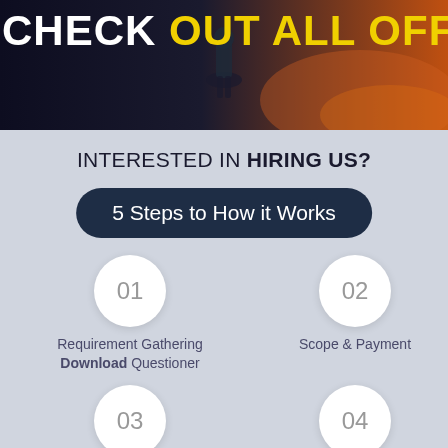[Figure (illustration): Dark banner with person silhouette against orange sunset background with bold text overlay: CHECK OUT ALL OFFER]
CHECK OUT ALL OFFER
INTERESTED IN HIRING US?
5 Steps to How it Works
01 Requirement Gathering Download Questioner
02 Scope & Payment
03 Design Mockup & Feedback
04 Development & Site Review QA & Feedback Changes